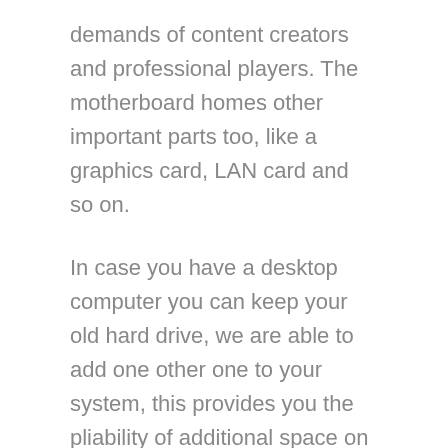demands of content creators and professional players. The motherboard homes other important parts too, like a graphics card, LAN card and so on.
In case you have a desktop computer you can keep your old hard drive, we are able to add one other one to your system, this provides you the pliability of additional space on the second exhausting drives. If you happen to're building a LAPTOP to economize, you'll probably need to no less than match the efficiency of a retailer-purchased desktop or laptop computer while spending less.